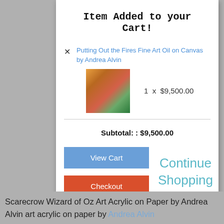Item Added to your Cart!
Putting Out the Fires Fine Art Oil on Canvas by Andrea Alvin
1 x $9,500.00
Subtotal: : $9,500.00
View Cart
Continue Shopping
Checkout
Scarecrow Wizard of Oz Art Acrylic on Paper by Andrea Alvin art acrylic on paper by Andrea Alvin